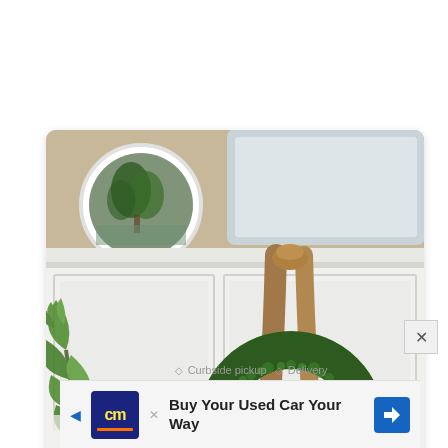[Figure (photo): Interior home decor photo showing a white wainscoting wall with a green boxwood wreath hanging from a burlap ribbon. A round white-framed mirror and a framed picture are visible on the tan/khaki wall above. A tropical plant is partially visible on the left side.]
◇ Curbside pickup  ◇ Delivery
[Figure (logo): CarMax (cm) logo in yellow on dark blue background with orange underline bar]
Buy Your Used Car Your Way